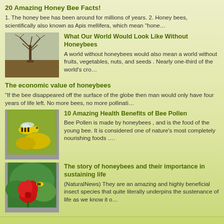20 Amazing Honey Bee Facts!
1. The honey bee has been around for millions of years. 2. Honey bees, scientifically also known as Apis mellifera, which mean "hone…
[Figure (photo): Bare winter tree in a field]
What Our World Would Look Like Without Honeybees
A world without honeybees would also mean a  world without fruits, vegetables, nuts, and seeds .  Nearly one-third of the world's cro…
The economic value of honeybees
"If the bee disappeared off the surface of the globe then man would only have four years of life left. No more bees, no more pollinati…
[Figure (photo): Close-up of a honey bee on yellow flowers]
10 Amazing Health Benefits of Bee Pollen
Bee Pollen is made by  honeybees , and is the food of the young bee. It is considered one of nature's most completely nourishing foods ….
[Figure (photo): Bee on a red flower with green background]
The story of honeybees and their importance in sustaining life
(NaturalNews) They are an amazing and highly beneficial insect species that quite literally underpins the sustenance of life as we know it o…